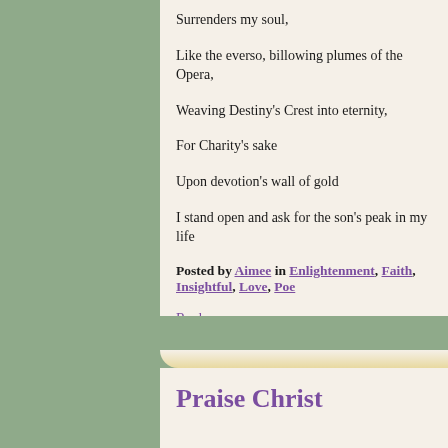Surrenders my soul,
Like the everso, billowing plumes of the Opera,
Weaving Destiny's Crest into eternity,
For Charity's sake
Upon devotion's wall of gold
I stand open and ask for the son's peak in my life
Posted by Aimee in Enlightenment, Faith, Insightful, Love, Poe…
Reply
Praise Christ